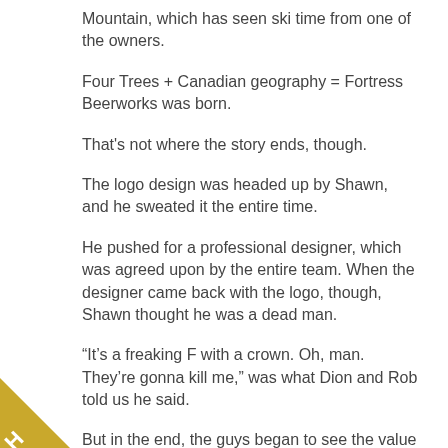Mountain, which has seen ski time from one of the owners.
Four Trees + Canadian geography = Fortress Beerworks was born.
That's not where the story ends, though.
The logo design was headed up by Shawn, and he sweated it the entire time.
He pushed for a professional designer, which was agreed upon by the entire team. When the designer came back with the logo, though, Shawn thought he was a dead man.
“It’s a freaking F with a crown. Oh, man. They’re gonna kill me,” was what Dion and Rob told us he said.
But in the end, the guys began to see the value in the